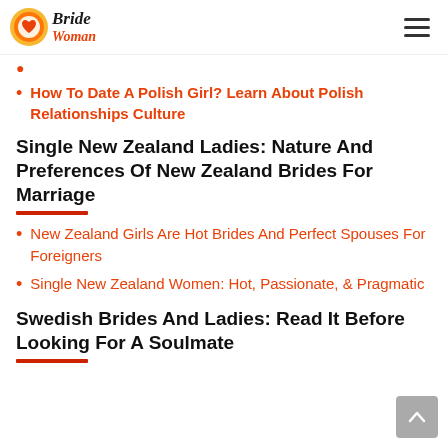BrideWoman
How To Date A Polish Girl? Learn About Polish Relationships Culture
Single New Zealand Ladies: Nature And Preferences Of New Zealand Brides For Marriage
New Zealand Girls Are Hot Brides And Perfect Spouses For Foreigners
Single New Zealand Women: Hot, Passionate, & Pragmatic
Swedish Brides And Ladies: Read It Before Looking For A Soulmate